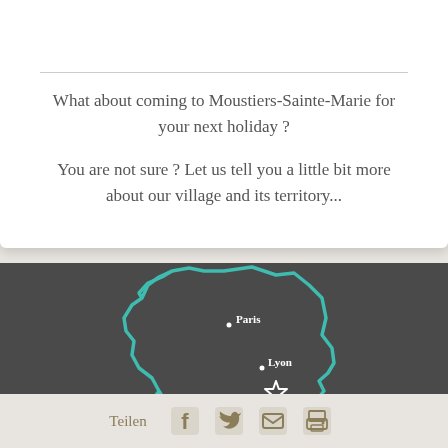What about coming to Moustiers-Sainte-Marie for your next holiday ?
You are not sure ? Let us tell you a little bit more about our village and its territory...
[Figure (map): Outline map of France in teal/turquoise on dark gray background, with labeled cities Paris (dot, upper center), Lyon (dot, center-right), and Marseille (dot, lower right) with a star marker near Marseille indicating location of Moustiers-Sainte-Marie]
Teilen